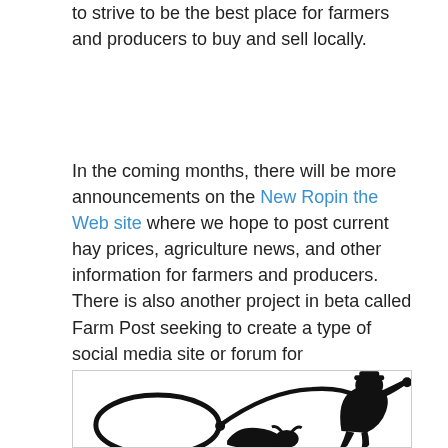to strive to be the best place for farmers and producers to buy and sell locally.
In the coming months, there will be more announcements on the New Ropin the Web site where we hope to post current hay prices, agriculture news, and other information for farmers and producers. There is also another project in beta called Farm Post seeking to create a type of social media site or forum for permaculture farms, small farms, and sustainable producers looking to sell their products locally.
[Figure (illustration): Black and white silhouette illustration of a cowboy throwing a lasso/rope, with a large loop visible, set against a white background inside a light-bordered box.]